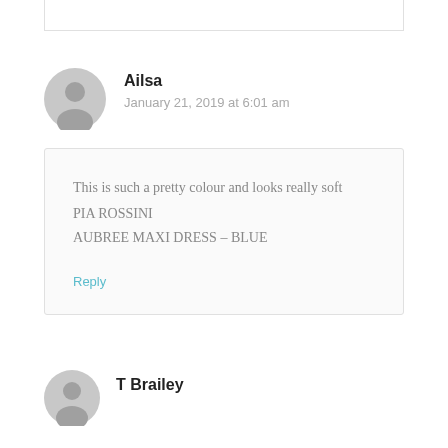Ailsa
January 21, 2019 at 6:01 am
This is such a pretty colour and looks really soft PIA ROSSINI AUBREE MAXI DRESS – BLUE
Reply
T Brailey